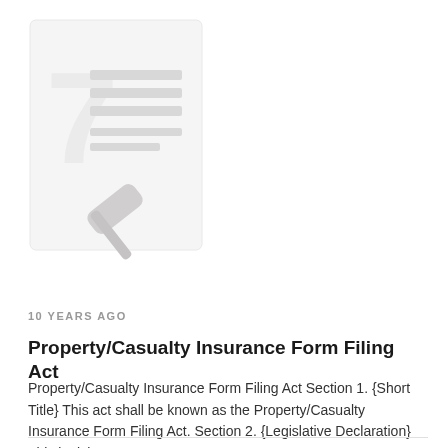[Figure (illustration): A decorative illustration showing a document with lines of text and a gavel icon overlaid, rendered in light gray tones on a white background, representing legal/insurance documentation.]
10 YEARS AGO
Property/Casualty Insurance Form Filing Act
Property/Casualty Insurance Form Filing Act Section 1. {Short Title} This act shall be known as the Property/Casualty Insurance Form Filing Act. Section 2. {Legislative Declaration} This legislature...